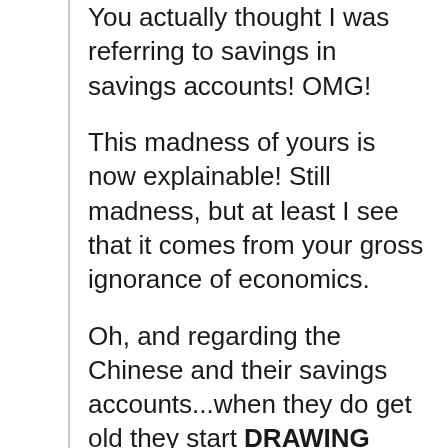You actually thought I was referring to savings in savings accounts! OMG!
This madness of yours is now explainable! Still madness, but at least I see that it comes from your gross ignorance of economics.
Oh, and regarding the Chinese and their savings accounts...when they do get old they start DRAWING DOWN those accounts. Which impacts national savings (economic's term) in a huge way.
This has been happening in Japan for over a decade now and only issuing up debt do they pay for their Keynesian BS that doesn't accomplish